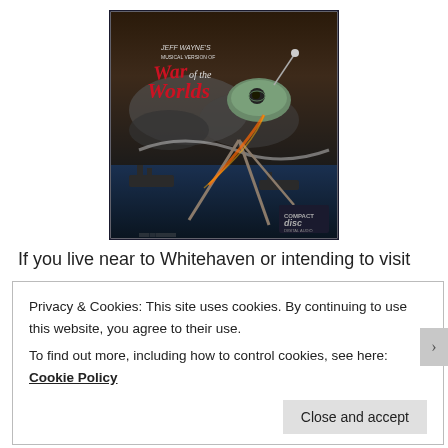[Figure (illustration): Album cover of Jeff Wayne's Musical Version of The War of the Worlds. Features a dramatic painted scene with a large tripod alien war machine standing over stormy seas and sinking ships. The title text reads 'Jeff Wayne's Musical Version of The War of the Worlds' in stylized lettering. A Compact Disc logo appears in the bottom right corner.]
If you live near to Whitehaven or intending to visit
Privacy & Cookies: This site uses cookies. By continuing to use this website, you agree to their use.
To find out more, including how to control cookies, see here: Cookie Policy